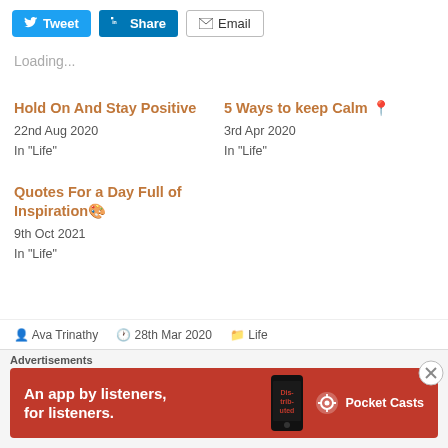[Figure (other): Social share buttons: Tweet (Twitter), Share (LinkedIn), Email]
Loading...
Hold On And Stay Positive
22nd Aug 2020
In "Life"
5 Ways to keep Calm 📍
3rd Apr 2020
In "Life"
Quotes For a Day Full of Inspiration 🎨
9th Oct 2021
In "Life"
👤 Ava Trinathy   🕐 28th Mar 2020   📁 Life
Advertisements
[Figure (screenshot): Pocket Casts advertisement banner: An app by listeners, for listeners. Red background with phone image and Pocket Casts logo.]